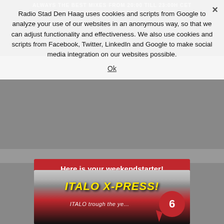ALWAYS THE BEST MIXES FROM 20:00 TILL 23:00H CET
Radio Stad Den Haag uses cookies and scripts from Google to analyze your use of our websites in an anonymous way, so that we can adjust functionality and effectiveness. We also use cookies and scripts from Facebook, Twitter, LinkedIn and Google to make social media integration on our websites possible.
Ok
Here is your weekendstarter!
We make it your night out!
Every friday mostly brand new & unique mix-sets made only by excellent DJ's mixing Italo, Disco & Nu-Disco .
[Figure (photo): Photo of a red Italo train at a station, with the text 'ITALO X-PRESS!' in large yellow italic bold font overlaid, and smaller text 'ITALO trough the ye...' below. A red circular chat badge with the number 6 is visible in the lower right corner.]